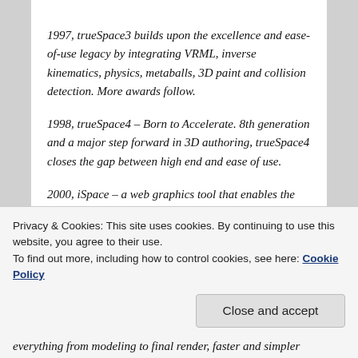1997, trueSpace3 builds upon the excellence and ease-of-use legacy by integrating VRML, inverse kinematics, physics, metaballs, 3D paint and collision detection. More awards follow.
1998, trueSpace4 – Born to Accelerate. 8th generation and a major step forward in 3D authoring, trueSpace4 closes the gap between high end and ease of use.
2000, iSpace – a web graphics tool that enables the creation of stunning 3D graphics in HTML and Flash format. It delivers photorealistic web sites and uses simple drag&drop interface.
2001, trueSpace5 – Reality Designer, providing designers
Privacy & Cookies: This site uses cookies. By continuing to use this website, you agree to their use.
To find out more, including how to control cookies, see here: Cookie Policy
Close and accept
everything from modeling to final render, faster and simpler